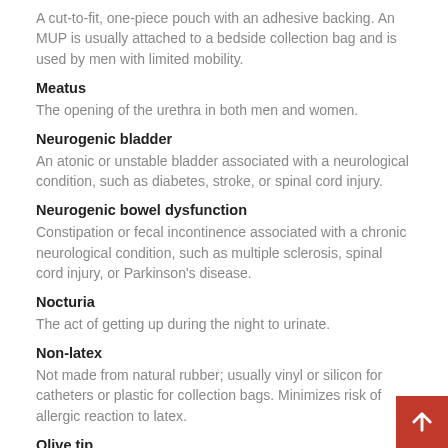A cut-to-fit, one-piece pouch with an adhesive backing. An MUP is usually attached to a bedside collection bag and is used by men with limited mobility.
Meatus
The opening of the urethra in both men and women.
Neurogenic bladder
An atonic or unstable bladder associated with a neurological condition, such as diabetes, stroke, or spinal cord injury.
Neurogenic bowel dysfunction
Constipation or fecal incontinence associated with a chronic neurological condition, such as multiple sclerosis, spinal cord injury, or Parkinson's disease.
Nocturia
The act of getting up during the night to urinate.
Non-latex
Not made from natural rubber; usually vinyl or silicon for catheters or plastic for collection bags. Minimizes risk of allergic reaction to latex.
Olive tip
A rounded, dome-shaped tip that eases insertion of a catheter